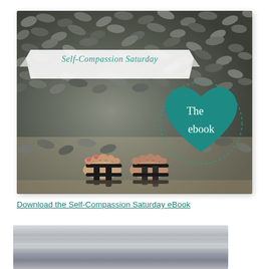[Figure (photo): Photo of pebble stone path/mosaic from above, with feet in black sandals visible at bottom center. A white banner ribbon overlay reads 'Self-Compassion Saturday' in teal italic text. A teal heart shape overlay in the lower right area contains the white text 'The ebook'.]
Download the Self-Compassion Saturday eBook
[Figure (photo): Partial view of what appears to be a gray/silver surface or object, cropped at the bottom of the page.]